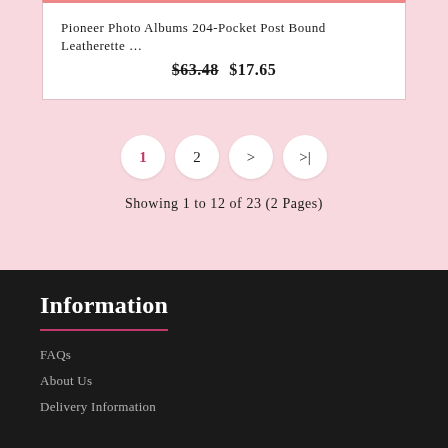Pioneer Photo Albums 204-Pocket Post Bound Leatherette ...
$63.48 $17.65
1 2 > >|
Showing 1 to 12 of 23 (2 Pages)
Information
FAQs
About Us
Delivery Information